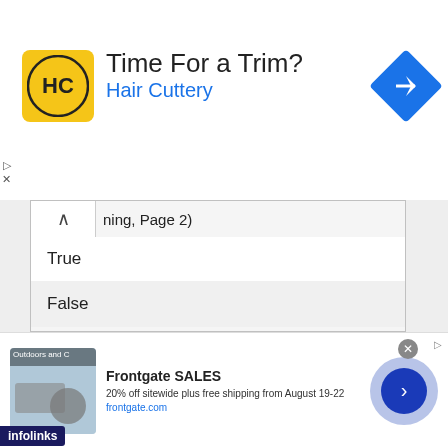[Figure (screenshot): Advertisement banner for Hair Cuttery with logo, text 'Time For a Trim?' and 'Hair Cuttery' in blue, navigation diamond icon on right, and ad controls on left]
ning, Page 2)
True
False
| True or False: Internet acquaintances can pose a security threat and should be carefully | True |
| --- | --- |
[Figure (screenshot): Bottom advertisement for Frontgate SALES showing outdoor furniture, title 'Frontgate SALES', description '20% off sitewide plus free shipping from August 19-22', URL 'frontgate.com', close button, and arrow navigation button]